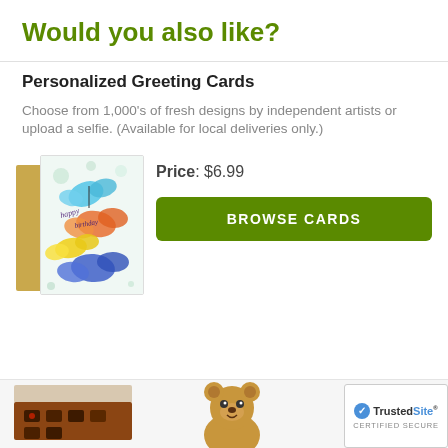Would you also like?
Personalized Greeting Cards
Choose from 1,000's of fresh designs by independent artists or upload a selfie. (Available for local deliveries only.)
Price: $6.99
[Figure (photo): A greeting card with colorful butterflies and 'happy birthday' text, shown with a kraft paper envelope behind it]
BROWSE CARDS
[Figure (photo): A box of chocolates (partial view at bottom of page)]
[Figure (photo): A plush teddy bear (partial view at bottom of page)]
[Figure (logo): TrustedSite CERTIFIED SECURE badge]